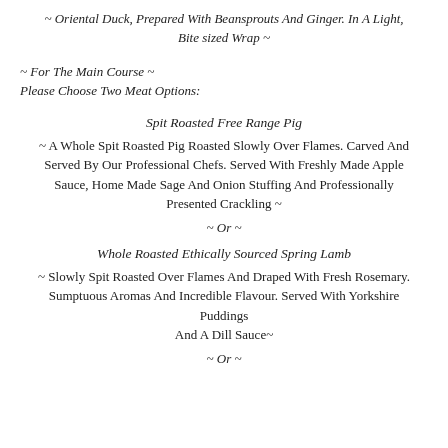~ Oriental Duck, Prepared With Beansprouts And Ginger. In A Light, Bite sized Wrap ~
~ For The Main Course ~
Please Choose Two Meat Options:
Spit Roasted Free Range Pig
~ A Whole Spit Roasted Pig Roasted Slowly Over Flames. Carved And Served By Our Professional Chefs. Served With Freshly Made Apple Sauce, Home Made Sage And Onion Stuffing And Professionally Presented Crackling ~
~ Or ~
Whole Roasted Ethically Sourced Spring Lamb
~ Slowly Spit Roasted Over Flames And Draped With Fresh Rosemary. Sumptuous Aromas And Incredible Flavour. Served With Yorkshire Puddings
And A Dill Sauce~
~ Or ~